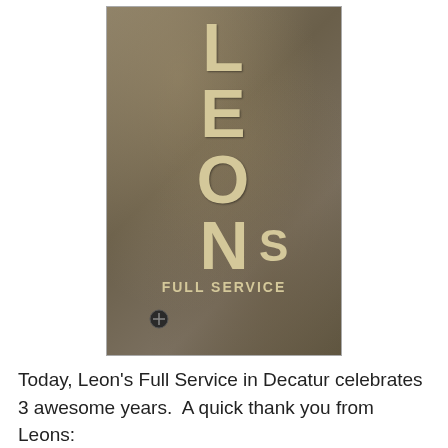[Figure (photo): An aged, weathered metal sign reading 'LEON'S FULL SERVICE' with the letters stacked vertically in a distressed cream/gold color on a dark bronze-green patinated metal background. A screw is visible at the bottom left of the sign.]
Today, Leon's Full Service in Decatur celebrates 3 awesome years.  A quick thank you from Leons:
Wow, I can't believe it's been 3 years already. Thank